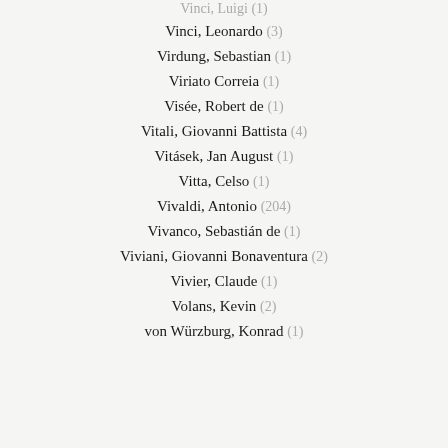Vinci, Leonardo (3)
Virdung, Sebastian (1)
Viriato Correia (1)
Visée, Robert de (1)
Vitali, Giovanni Battista (4)
Vitásek, Jan August (1)
Vitta, Celso (1)
Vivaldi, Antonio (204)
Vivanco, Sebastián de (1)
Viviani, Giovanni Bonaventura (2)
Vivier, Claude (1)
Volans, Kevin (2)
von Würzburg, Konrad (1)